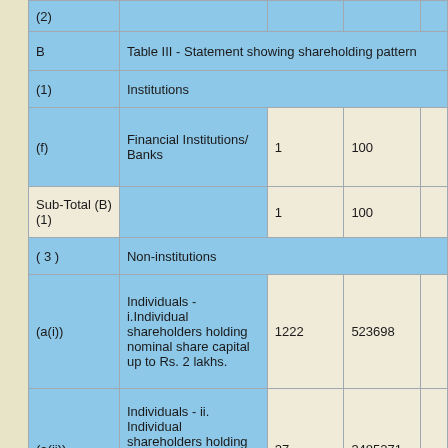|  | Description | Number | Amount |  |
| --- | --- | --- | --- | --- |
| (2) |  |  |  |  |
| B | Table III - Statement showing shareholding pattern |  |  |  |
| (1) | Institutions |  |  |  |
| (f) | Financial Institutions/ Banks | 1 | 100 |  |
| Sub-Total (B)(1) |  | 1 | 100 |  |
| ( 3 ) | Non-institutions |  |  |  |
| (a(i)) | Individuals - i.Individual shareholders holding nominal share capital up to Rs. 2 lakhs. | 1222 | 523698 |  |
| (a(ii)) | Individuals - ii. Individual shareholders holding nominal share capital in excess of Rs. 2 lakhs. | 27 | 3485271 |  |
| (e) | Any Other | 199 | 14431731 |  |